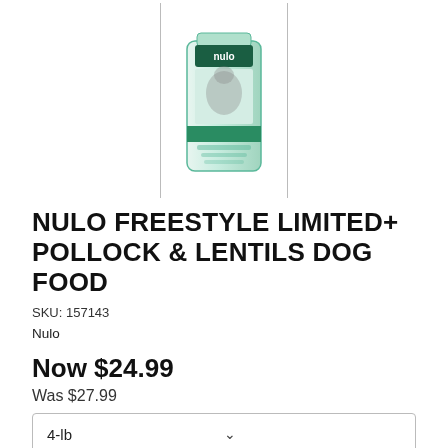[Figure (photo): Nulo Freestyle Limited+ Pollock & Lentils dog food bag product image, shown inside vertical border lines]
NULO FREESTYLE LIMITED+ POLLOCK & LENTILS DOG FOOD
SKU: 157143
Nulo
Now $24.99
Was $27.99
4-lb
Quantity
1
ADD TO CART